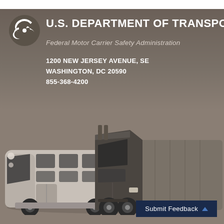[Figure (logo): U.S. Department of Transportation circular logo (white swirl on dark background)]
U.S. DEPARTMENT OF TRANSPORTATION
Federal Motor Carrier Safety Administration
1200 NEW JERSEY AVENUE, SE
WASHINGTON, DC 20590
855-368-4200
[Figure (photo): Sepia-toned photograph of commercial vehicles: a modern bus on the left and a semi-truck/tractor-trailer on the right]
Submit Feedback